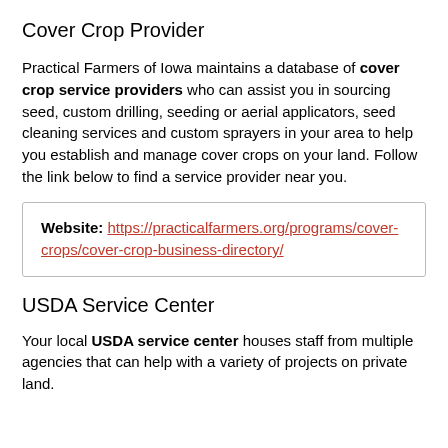Cover Crop Provider
Practical Farmers of Iowa maintains a database of cover crop service providers who can assist you in sourcing seed, custom drilling, seeding or aerial applicators, seed cleaning services and custom sprayers in your area to help you establish and manage cover crops on your land. Follow the link below to find a service provider near you.
Website: https://practicalfarmers.org/programs/cover-crops/cover-crop-business-directory/
USDA Service Center
Your local USDA service center houses staff from multiple agencies that can help with a variety of projects on private land.